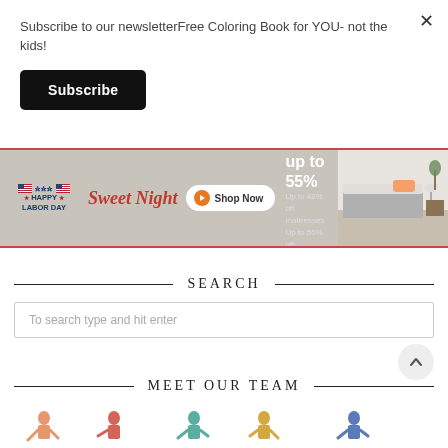Subscribe to our newsletterFree Coloring Book for YOU- not the kids!
Subscribe
[Figure (infographic): Sweet Night mattress advertisement banner with Happy Labor Day branding, orange Shop Now button, Save up to 55% offer, Up to 48% off mattresses, Up to 55% off accessories, bedroom photo on right]
SEARCH
To search type and hit enter
MEET OUR TEAM
[Figure (illustration): Colorful illustrated team member figures at bottom of page]